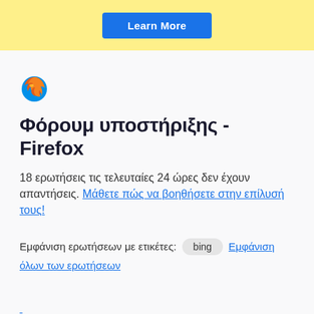[Figure (other): Yellow banner with a blue 'Learn More' button]
[Figure (logo): Firefox browser logo icon (flame around globe)]
Φόρουμ υποστήριξης - Firefox
18 ερωτήσεις τις τελευταίες 24 ώρες δεν έχουν απαντήσεις. Μάθετε πώς να βοηθήσετε στην επίλυσή τους!
Εμφάνιση ερωτήσεων με ετικέτες: bing  Εμφάνιση όλων των ερωτήσεων